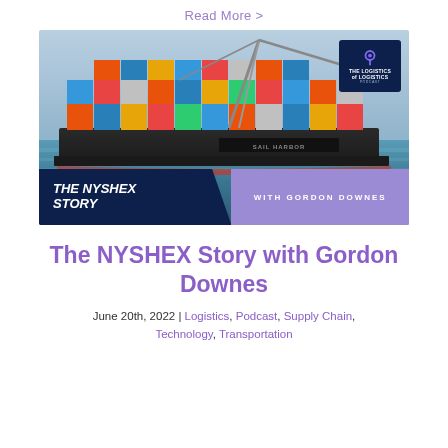Read More >
[Figure (photo): Container ship at port with colorful stacked shipping containers, overlaid with 'THE NYSHEX STORY with Gordon Downes' text and Logistics of Logistics podcast logo]
The NYSHEX Story with Gordon Downes
June 20th, 2022 | Logistics, Podcast, Supply Chain, Technology, Transportation